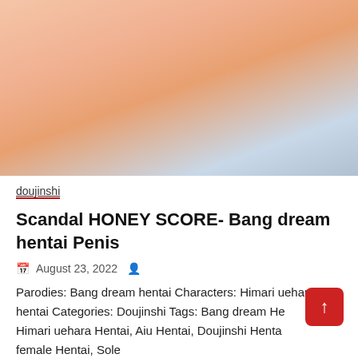[Figure (illustration): Anime/manga style illustration showing adult content with chibi characters in the lower right corner with Japanese text watermarks]
doujinshi
Scandal HONEY SCORE- Bang dream hentai Penis
August 23, 2022
Parodies: Bang dream hentai Characters: Himari uehara hentai Categories: Doujinshi Tags: Bang dream Hentai, Himari uehara Hentai, Aiu Hentai, Doujinshi Hentai, Sole female Hentai, Sole